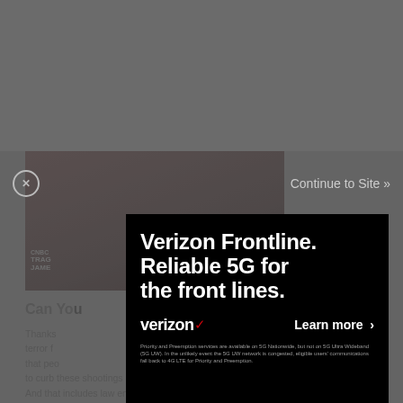[Figure (screenshot): A screenshot of a news article web page with a modal advertisement overlay. The background shows a dimmed website with a video thumbnail (CNBC-style news segment about 'TRAG... JAME...') and partial article text 'Can Yo...' with body text beginning 'Thanks... ner of terror f... od is that peo... be done to curb these shootings and how to respond to them. And that includes law enforcement.' In the foreground is a black modal ad for Verizon Frontline with text 'Verizon Frontline. Reliable 5G for the front lines.' and 'Learn more >' button, plus 'verizon' logo with red checkmark. A close button (X in circle) and 'Continue to Site »' appear at the top of the overlay.]